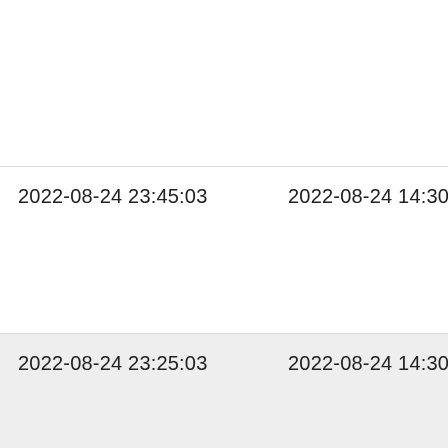| start_time | end_time | value |
| --- | --- | --- |
|  |  |  |
| 2022-08-24 23:45:03 | 2022-08-24 14:30:14 | 3. |
| 2022-08-24 23:25:03 | 2022-08-24 14:30:14 | 2. |
| 2022-08-24 23:05:04 | 2022-08-24 14:30:14 | 2. |